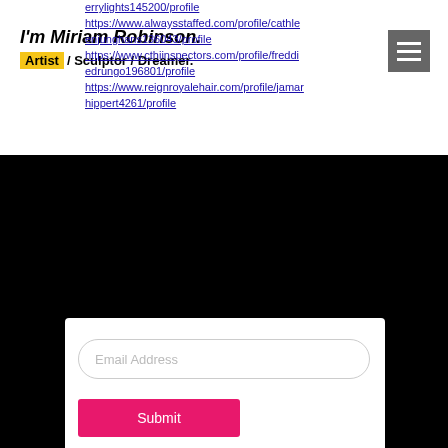I'm Miriam Robinson.
Artist / Sculptor / Dreamer.
errylights145200/profile
https://www.alwaysstaffed.com/profile/cathleenjunghans136043/profile
https://www.cthiinspectors.com/profile/freddiedrungo196801/profile
https://www.reignroyalehair.com/profile/jamarhippert4261/profile
Email Address
Submit
Atlanta, Ga • mrobinson@gmail.com
© 2021 by Campfire Branding for Miriam Robinson